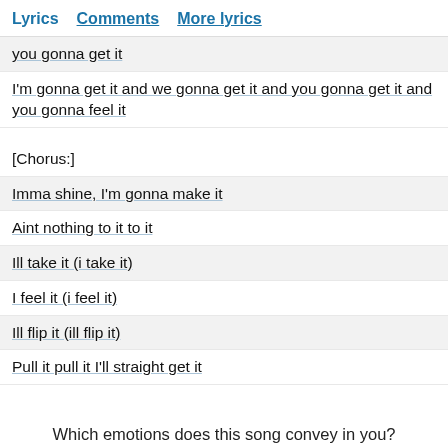Lyrics  Comments  More lyrics
you gonna get it
I'm gonna get it and we gonna get it and you gonna get it and you gonna feel it
[Chorus:]
Imma shine, I'm gonna make it
Aint nothing to it to it
Ill take it (i take it)
I feel it (i feel it)
Ill flip it (ill flip it)
Pull it pull it I'll straight get it
Which emotions does this song convey in you?
Funny  Love  Angry  Sad